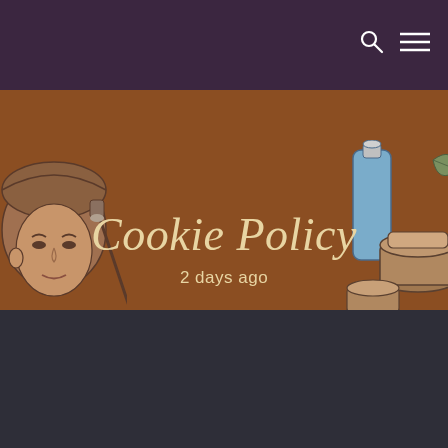navigation bar with search and menu icons
Cookie Policy
2 days ago
[Figure (illustration): Decorative beauty illustration: woman face with head wrap and makeup brush on left; skincare products (tube, jars, leaf) on right; set against brown background]
We use cookies to ensure that we give you the best experience on our website. If you continue to use this site we will assume that you are happy with it.
Ok